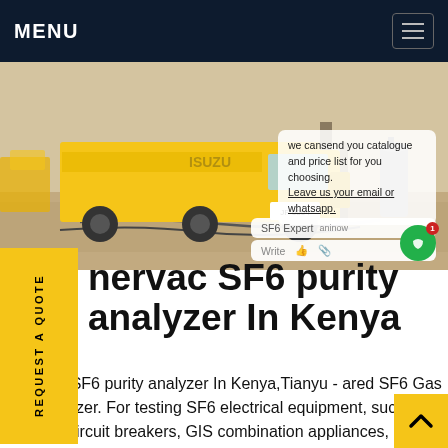MENU
[Figure (photo): Yellow Isuzu truck on a construction/industrial site with hoses and equipment visible, sandy ground, industrial backdrop.]
we cansend you catalogue and price list for you choosing. Leave us your email or whatsapp.
nervac SF6 purity analyzer In Kenya
rvac SF6 purity analyzer In Kenya,Tianyu - ared SF6 Gas Analyzer. For testing SF6 electrical equipment, such as: GIS circuit breakers, GIS combination appliances, SF6 transformers or insulation substations. Measure the purity, humidity,